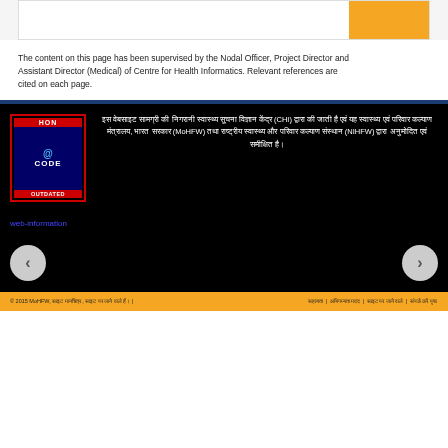The content on this page has been supervised by the Nodal Officer, Project Director and Assistant Director (Medical) of Centre for Health Informatics. Relevant references are cited on each page.
[Figure (logo): HON Code OUTDATED badge - red bordered box with blue background showing @symbol and HON CODE OUTDATED text]
इस वेबसाइट सामग्री की निगरानी स्वास्थ्य सूचना विज्ञान केंद्र (CHI) द्वारा की जाती है एवं यह स्वास्थ्य एवं परिवार कल्याण मंत्रालय, भारत सरकार (MoHFW) तथा राष्ट्रीय स्वास्थ्य और परिवार कल्याण संस्थान (NIHFW) द्वारा अनुमोदित एवं समीक्षित है।
[Figure (screenshot): web-information link/image placeholder]
© 2015 MoHFW, साइट मानचित्र , साइट पर जाने वाले हैं। | सहायता | अभिगम्यता मदद | साइट पर जाने वाले | संपर्क करें पृष्ठ